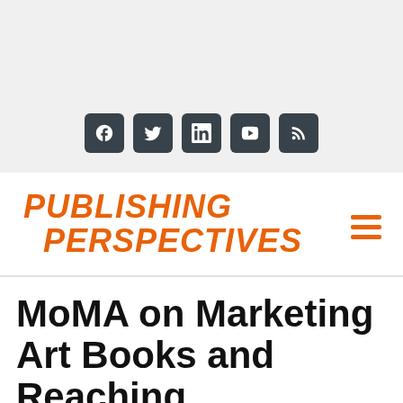[Figure (other): Top banner area with light gray background containing social media icons: Facebook, Twitter, LinkedIn, YouTube, RSS feed]
PUBLISHING PERSPECTIVES
MoMA on Marketing Art Books and Reaching Enthusiasts